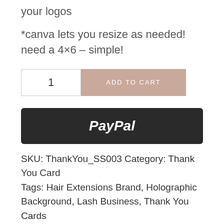your logos
*canva lets you resize as needed! need a 4×6 – simple!
1  ADD TO CART
[Figure (other): PayPal payment button (dark background, white PayPal logo text)]
SKU: ThankYou_SS003 Category: Thank You Card Tags: Hair Extensions Brand, Holographic Background, Lash Business, Thank You Cards
DESCRIPTION   REVIEWS (0)